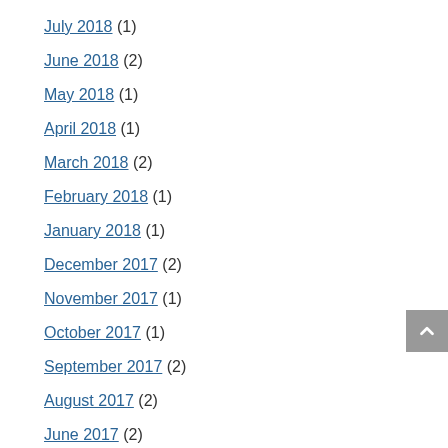July 2018 (1)
June 2018 (2)
May 2018 (1)
April 2018 (1)
March 2018 (2)
February 2018 (1)
January 2018 (1)
December 2017 (2)
November 2017 (1)
October 2017 (1)
September 2017 (2)
August 2017 (2)
June 2017 (2)